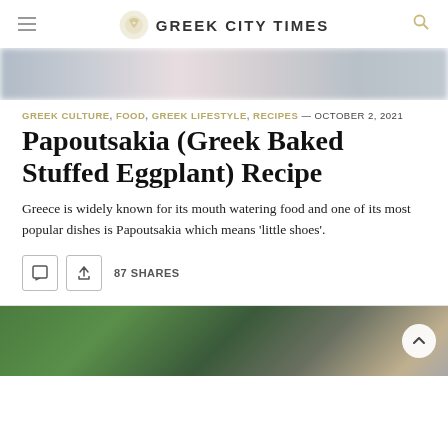GREEK CITY TIMES
[Figure (photo): Blurred hero image at the top of the article, appears to show food or colorful items, heavily blurred]
GREEK CULTURE, FOOD, GREEK LIFESTYLE, RECIPES — OCTOBER 2, 2021
Papoutsakia (Greek Baked Stuffed Eggplant) Recipe
Greece is widely known for its mouth watering food and one of its most popular dishes is Papoutsakia which means 'little shoes'.
87 SHARES
[Figure (photo): Bottom portion: outdoor photo showing two people, man and woman, with greenery in background. A scroll-to-top button (chevron up) visible on the right.]